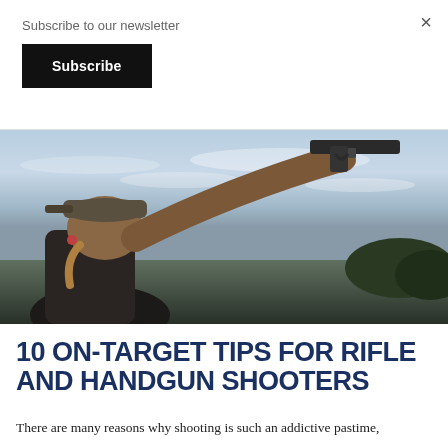Subscribe to our newsletter
Subscribe
×
[Figure (photo): Woman wearing a baseball cap aiming a handgun upward against a partly cloudy sky with trees in the background]
10 ON-TARGET TIPS FOR RIFLE AND HANDGUN SHOOTERS
There are many reasons why shooting is such an addictive pastime,